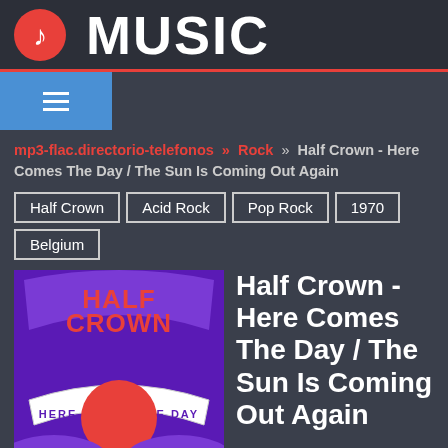MUSIC
mp3-flac.directorio-telefonos » Rock » Half Crown - Here Comes The Day / The Sun Is Coming Out Again
Half Crown
Acid Rock
Pop Rock
1970
Belgium
[Figure (illustration): Album cover art for Half Crown - Here Comes The Day. Purple background with red text 'HALF CROWN' at top, a banner reading 'HERE COMES THE DAY' and a large red circle/sun in the center.]
Half Crown - Here Comes The Day / The Sun Is Coming Out Again